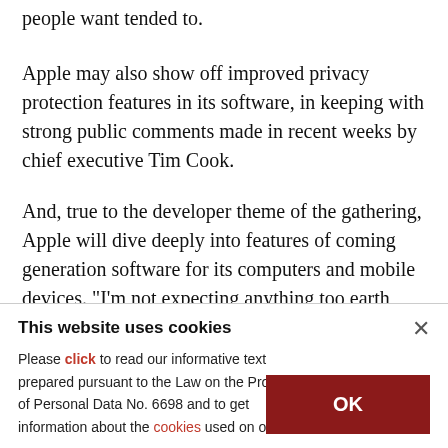people want tended to.
Apple may also show off improved privacy protection features in its software, in keeping with strong public comments made in recent weeks by chief executive Tim Cook.
And, true to the developer theme of the gathering, Apple will dive deeply into features of coming generation software for its computers and mobile devices. "I'm not expecting anything too earth
This website uses cookies
Please click to read our informative text prepared pursuant to the Law on the Protection of Personal Data No. 6698 and to get information about the cookies used on our